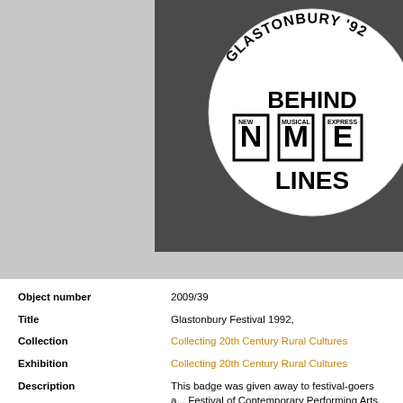[Figure (photo): A circular pin badge reading 'Glastonbury 92 Behind NME (New Musical Express) Lines' shown close-up on a dark background]
| Object number | 2009/39 |
| Title | Glastonbury Festival 1992, |
| Collection | Collecting 20th Century Rural Cultures |
| Exhibition | Collecting 20th Century Rural Cultures |
| Description | This badge was given away to festival-goers a... Festival of Contemporary Performing Arts. 19... NME stage; the badge reads: 'Glastonbury '9... |